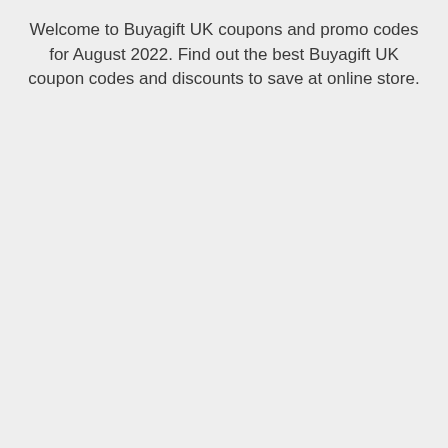Welcome to Buyagift UK coupons and promo codes for August 2022. Find out the best Buyagift UK coupon codes and discounts to save at online store.